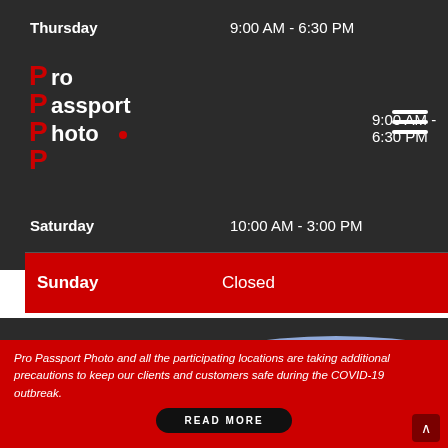| Day | Hours |
| --- | --- |
| Thursday | 9:00 AM - 6:30 PM |
| Friday | 9:00 AM - 6:30 PM |
| Saturday | 10:00 AM - 3:00 PM |
| Sunday | Closed |
[Figure (logo): Pro Passport Photo logo with stacked red P letters and black text]
[Figure (illustration): Pro Passport Photo store front illustration with blue background and white sign reading PRO PASSPORT PHOTO]
Pro Passport Photo and all the participating locations are taking additional precautions to keep our clients and customers safe during the COVID-19 outbreak.